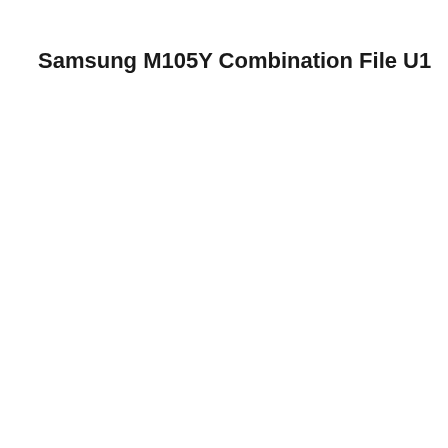Samsung M105Y Combination File U1